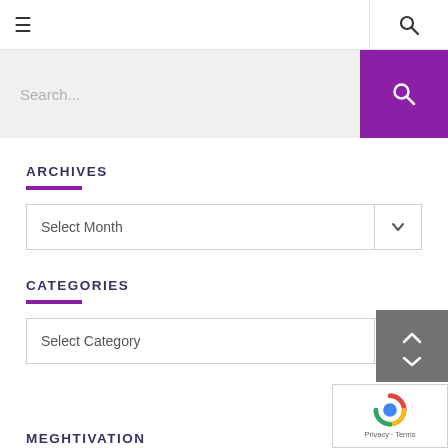☰  (navigation) | 🔍 (search icon)
Search...
ARCHIVES
Select Month
CATEGORIES
Select Category
MEGHTIVATION